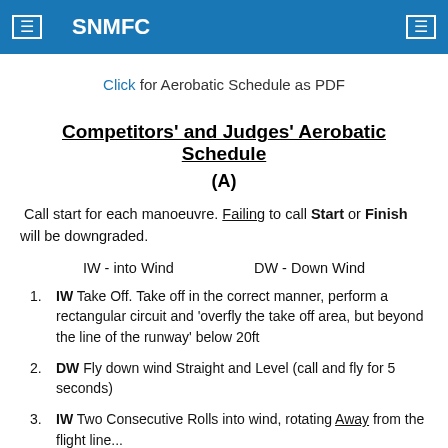SNMFC
Click for Aerobatic Schedule as PDF
Competitors' and Judges' Aerobatic Schedule
(A)
Call start for each manoeuvre. Failing to call Start or Finish will be downgraded.
IW - into Wind          DW - Down Wind
IW Take Off. Take off in the correct manner, perform a rectangular circuit and 'overfly the take off area, but beyond the line of the runway' below 20ft
DW Fly down wind Straight and Level (call and fly for 5 seconds)
IW Two Consecutive Rolls into wind, rotating Away from the flight line...